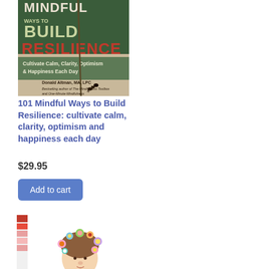[Figure (photo): Book cover of '101 Mindful Ways to Build Resilience: Cultivate Calm, Clarity, Optimism & Happiness Each Day' by Donald Altman, MA, LPC. Dark green and red color scheme with an ant on sand background.]
101 Mindful Ways to Build Resilience: cultivate calm, clarity, optimism and happiness each day
$29.95
Add to cart
[Figure (illustration): Partial view of another book cover showing an illustrated character with colorful flowers in their hair, cartoon style.]